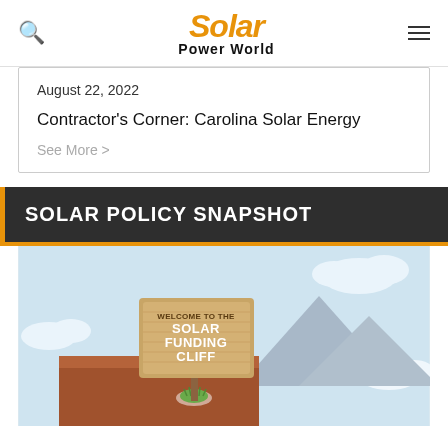Solar Power World
August 22, 2022
Contractor's Corner: Carolina Solar Energy
See More >
SOLAR POLICY SNAPSHOT
[Figure (illustration): Cartoon illustration of a wooden sign reading 'WELCOME TO THE SOLAR FUNDING CLIFF' on a rocky cliff edge with mountains and clouds in the background.]